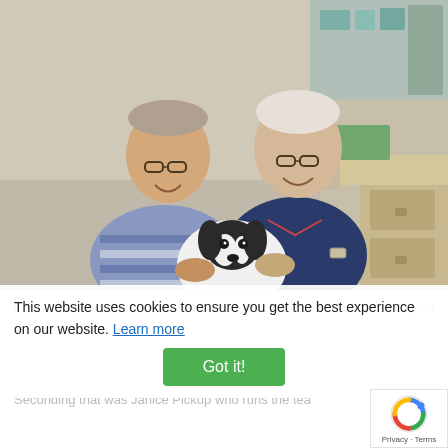[Figure (photo): Two elderly people (a man in a striped polo shirt and a woman in a dark navy polo shirt with a logo) smiling and posing with a black and white dog in what appears to be a veterinary or medical office setting.]
This website uses cookies to ensure you get the best experience on our website. Learn more
Got it!
yball
best at 13 years the old and has won every starter competition ever since.
Seconding that was Janice Pickup who runs the tea
Privacy · Terms